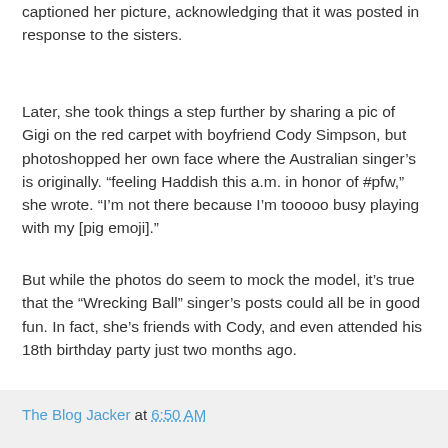captioned her picture, acknowledging that it was posted in response to the sisters.
Later, she took things a step further by sharing a pic of Gigi on the red carpet with boyfriend Cody Simpson, but photoshopped her own face where the Australian singer’s is originally. “feeling Haddish this a.m. in honor of #pfw,” she wrote. “I’m not there because I’m tooooo busy playing with my [pig emoji].”
But while the photos do seem to mock the model, it’s true that the “Wrecking Ball” singer’s posts could all be in good fun. In fact, she’s friends with Cody, and even attended his 18th birthday party just two months ago.
Jacked from Star Magazine
The Blog Jacker at 6:50 AM